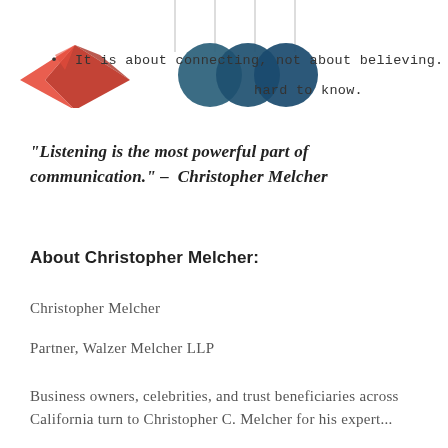[Figure (illustration): Decorative illustration with a red origami heart on the left and three dark teal/blue overlapping circles hanging from strings on the right, suggesting a mobile or pendant decoration.]
It is about connecting, not about believing.
Th[circles graphic] hard to know.
"Listening is the most powerful part of communication." – Christopher Melcher
About Christopher Melcher:
Christopher Melcher
Partner, Walzer Melcher LLP
Business owners, celebrities, and trust beneficiaries across California turn to Christopher C. Melcher for his expertise...